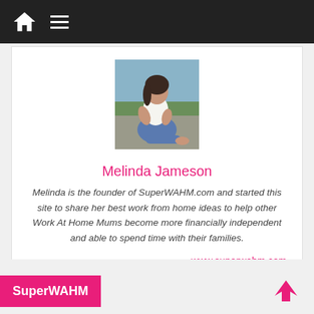Navigation bar with home icon and menu icon
[Figure (photo): Profile photo of Melinda Jameson sitting on a beach in white shirt and jeans]
Melinda Jameson
Melinda is the founder of SuperWAHM.com and started this site to share her best work from home ideas to help other Work At Home Mums become more financially independent and able to spend time with their families.
www.superwahm.com
SuperWAHM